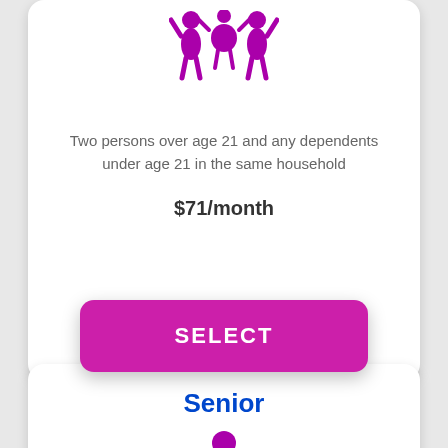[Figure (illustration): Purple family icon showing two adults and a child with raised arms]
Two persons over age 21 and any dependents under age 21 in the same household
$71/month
SELECT
Senior
[Figure (illustration): Purple person/senior icon (head and shoulders silhouette)]